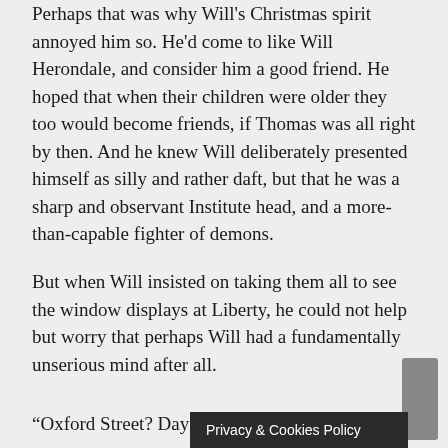Perhaps that was why Will's Christmas spirit annoyed him so. He'd come to like Will Herondale, and consider him a good friend. He hoped that when their children were older they too would become friends, if Thomas was all right by then. And he knew Will deliberately presented himself as silly and rather daft, but that he was a sharp and observant Institute head, and a more-than-capable fighter of demons.
But when Will insisted on taking them all to see the window displays at Liberty, he could not help but worry that perhaps Will had a fundamentally unserious mind after all.
“Oxford Street? Days
Privacy & Cookies Policy